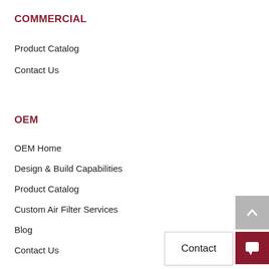COMMERCIAL
Product Catalog
Contact Us
OEM
OEM Home
Design & Build Capabilities
Product Catalog
Custom Air Filter Services
Blog
Contact Us
[Figure (other): Back to top button with upward chevron arrow, gray background]
[Figure (other): Contact button and chat icon button with dark red background]